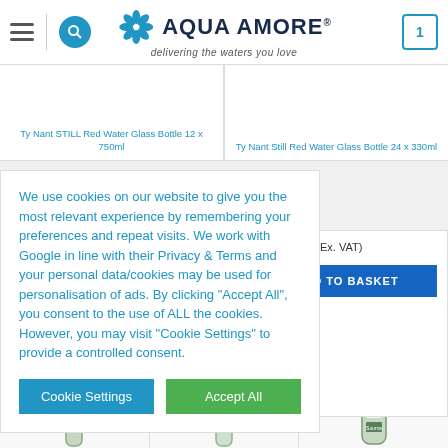Aqua Amore - delivering the waters you love
Ty Nant STILL Red Water Glass Bottle 12 x 750ml
Ty Nant Still Red Water Glass Bottle 24 x 330ml
VAT (£24.99 Ex. VAT)
ADD TO BASKET
We use cookies on our website to give you the most relevant experience by remembering your preferences and repeat visits. We work with Google in line with their Privacy & Terms and your personal data/cookies may be used for personalisation of ads. By clicking "Accept All", you consent to the use of ALL the cookies. However, you may visit "Cookie Settings" to provide a controlled consent.
Cookie Settings
Accept All
Need help?